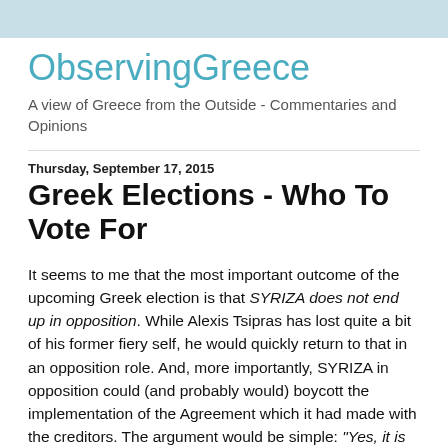ObservingGreece
A view of Greece from the Outside - Commentaries and Opinions
Thursday, September 17, 2015
Greek Elections - Who To Vote For
It seems to me that the most important outcome of the upcoming Greek election is that SYRIZA does not end up in opposition. While Alexis Tsipras has lost quite a bit of his former fiery self, he would quickly return to that in an opposition role. And, more importantly, SYRIZA in opposition could (and probably would) boycott the implementation of the Agreement which it had made with the creditors. The argument would be simple: "Yes, it is us who signed the Agreement but no, we would never have implemented it in such a destructive way!" And, sadly, chances are that many Greeks would, once again, believe him. Net result of all of